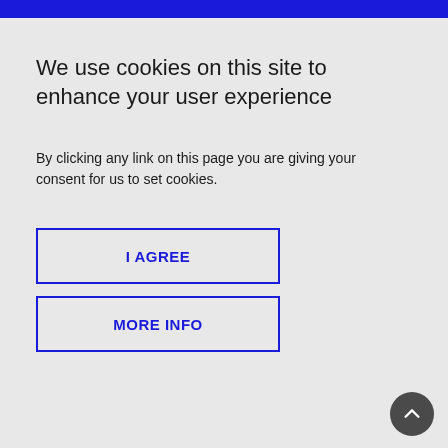We use cookies on this site to enhance your user experience
By clicking any link on this page you are giving your consent for us to set cookies.
I AGREE
MORE INFO
wisdom and reflection on what makes fiction work, including essays that were first given as craft talks at the Bread Loaf Writers' Conference.
The essays here range from brilliant thinking on